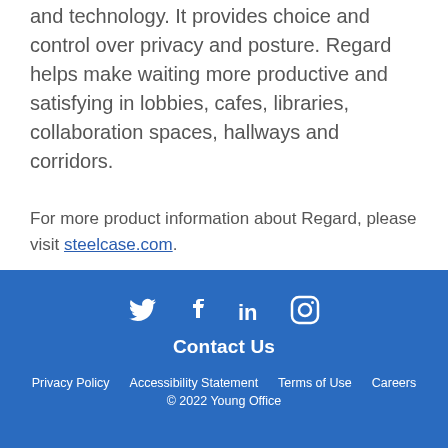and technology. It provides choice and control over privacy and posture. Regard helps make waiting more productive and satisfying in lobbies, cafes, libraries, collaboration spaces, hallways and corridors.
For more product information about Regard, please visit steelcase.com.
Contact Us | Privacy Policy | Accessibility Statement | Terms of Use | Careers | © 2022 Young Office